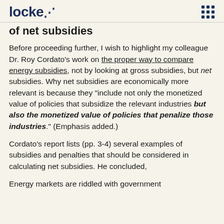locke
of net subsidies
Before proceeding further, I wish to highlight my colleague Dr. Roy Cordato's work on the proper way to compare energy subsidies, not by looking at gross subsidies, but net subsidies. Why net subsidies are economically more relevant is because they "include not only the monetized value of policies that subsidize the relevant industries but also the monetized value of policies that penalize those industries." (Emphasis added.)
Cordato's report lists (pp. 3-4) several examples of subsidies and penalties that should be considered in calculating net subsidies. He concluded,
Energy markets are riddled with government